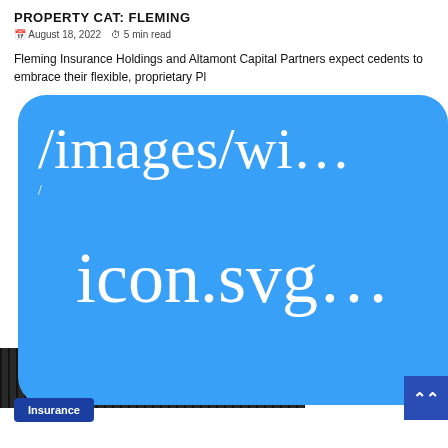PROPERTY CAT: FLEMING
August 18, 2022   5 min read
Fleming Insurance Holdings and Altamont Capital Partners expect cedents to embrace their flexible, proprietary Pl
[Figure (other): Broken image placeholder showing path /images/wi... icon.svg on a blue rounded rectangle background, with a dark strip image below showing what appears to be server equipment or electronic equipment]
Insurance